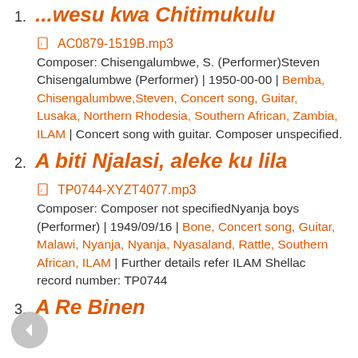1. ...wesu kwa Chitimukulu
AC0879-1519B.mp3
Composer: Chisengalumbwe, S. (Performer)Steven Chisengalumbwe (Performer) | 1950-00-00 | Bemba, Chisengalumbwe,Steven, Concert song, Guitar, Lusaka, Northern Rhodesia, Southern African, Zambia, ILAM | Concert song with guitar. Composer unspecified.
2. A biti Njalasi, aleke ku lila
TP0744-XYZT4077.mp3
Composer: Composer not specifiedNyanja boys (Performer) | 1949/09/16 | Bone, Concert song, Guitar, Malawi, Nyanja, Nyanja, Nyasaland, Rattle, Southern African, ILAM | Further details refer ILAM Shellac record number: TP0744
3. A Re Binen